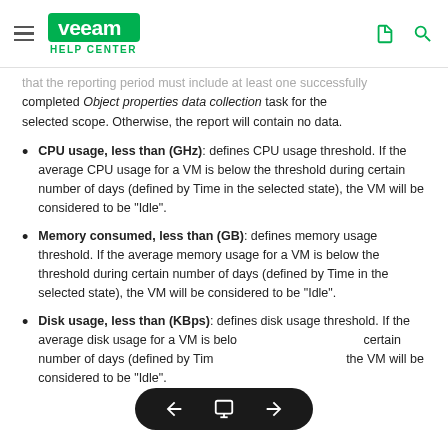VEEAM HELP CENTER
that the reporting period must include at least one successfully completed Object properties data collection task for the selected scope. Otherwise, the report will contain no data.
CPU usage, less than (GHz): defines CPU usage threshold. If the average CPU usage for a VM is below the threshold during certain number of days (defined by Time in the selected state), the VM will be considered to be “Idle”.
Memory consumed, less than (GB): defines memory usage threshold. If the average memory usage for a VM is below the threshold during certain number of days (defined by Time in the selected state), the VM will be considered to be “Idle”.
Disk usage, less than (KBps): defines disk usage threshold. If the average disk usage for a VM is below... certain number of days (defined by Time...), the VM will be considered to be “Idle”.